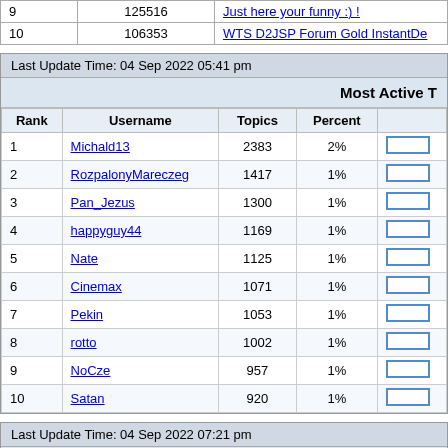|  |  |  |
| --- | --- | --- |
| 9 | 125516 | Just here your funny :) ! |
| 10 | 106353 | WTS D2JSP Forum Gold InstantDe |
Last Update Time: 04 Sep 2022 05:41 pm
Most Active T
| Rank | Username | Topics | Percent |  |
| --- | --- | --- | --- | --- |
| 1 | Michald13 | 2383 | 2% |  |
| 2 | RozpalonyMareczeg | 1417 | 1% |  |
| 3 | Pan_Jezus | 1300 | 1% |  |
| 4 | happyguy44 | 1169 | 1% |  |
| 5 | Nate | 1125 | 1% |  |
| 6 | Cinemax | 1071 | 1% |  |
| 7 | Pekin | 1053 | 1% |  |
| 8 | rotto | 1002 | 1% |  |
| 9 | NoCze | 957 | 1% |  |
| 10 | Satan | 920 | 1% |  |
Last Update Time: 04 Sep 2022 07:21 pm
Most Interesting Topics
| Rank | Rate
(views/messages) | Topic |  |
| --- | --- | --- | --- |
| 1 | 29996.00 | пп пппппп |  |
| 2 | 21269.00 | Buying and Selling fg legally on d2jsp |  |
| 3 | 11361.50 | WTS - D2jsp Forum Gold 37.000 |  |
| 4 | 11171.50 | ... |  |